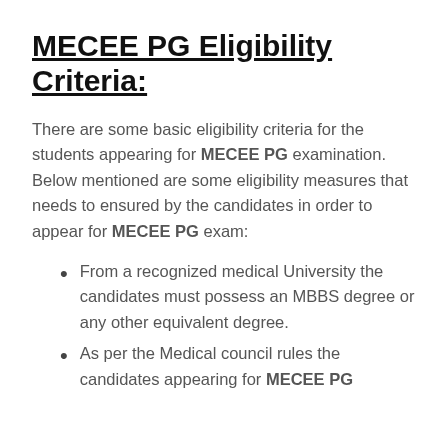MECEE PG Eligibility Criteria:
There are some basic eligibility criteria for the students appearing for MECEE PG examination. Below mentioned are some eligibility measures that needs to ensured by the candidates in order to appear for MECEE PG exam:
From a recognized medical University the candidates must possess an MBBS degree or any other equivalent degree.
As per the Medical council rules the candidates appearing for MECEE PG